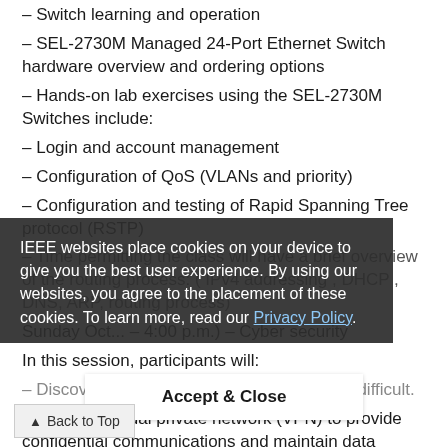– Switch learning and operation
– SEL-2730M Managed 24-Port Ethernet Switch hardware overview and ordering options
– Hands-on lab exercises using the SEL-2730M Switches include:
– Login and account management
– Configuration of QoS (VLANs and priority)
– Configuration and testing of Rapid Spanning Tree protocol (RSTP)
– Time permitting the class will have a brief overview of the routing process: ( IPv4 addressing , DHCP , DNS, ARP, routing process)
Sunday October ... – 4:00 p.m.) – Cyber security
In this session, participants will:
– Discover that sensible cybersecurity is not difficult.
... set up a virtual private network (VPN) to provide confidential communications and maintain data
IEEE websites place cookies on your device to give you the best user experience. By using our websites, you agree to the placement of these cookies. To learn more, read our Privacy Policy.
Accept & Close
Back to Top